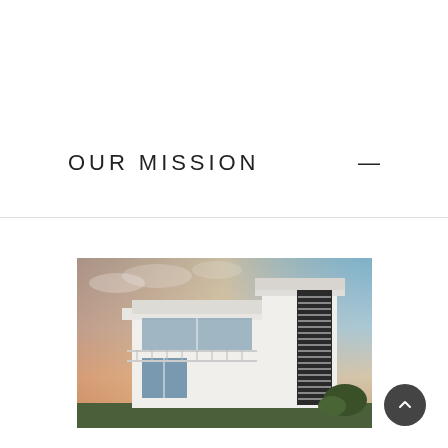OUR MISSION
[Figure (photo): Modern white two-storey house with large windows and horizontal louver panels, photographed at dusk/sunset with pink and blue sky in background.]